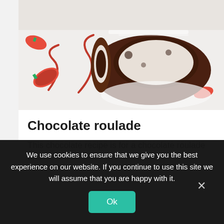[Figure (photo): Photo of chocolate roulade slices with strawberries and red sauce drizzle on a white plate, dusted with powdered sugar]
Chocolate roulade
This chocolate recipe is for a chocolate roulade and
We use cookies to ensure that we give you the best experience on our website. If you continue to use this site we will assume that you are happy with it.